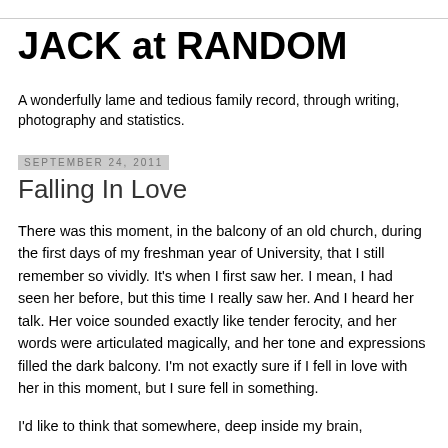JACK at RANDOM
A wonderfully lame and tedious family record, through writing, photography and statistics.
September 24, 2011
Falling In Love
There was this moment, in the balcony of an old church, during the first days of my freshman year of University, that I still remember so vividly. It's when I first saw her. I mean, I had seen her before, but this time I really saw her. And I heard her talk. Her voice sounded exactly like tender ferocity, and her words were articulated magically, and her tone and expressions filled the dark balcony. I'm not exactly sure if I fell in love with her in this moment, but I sure fell in something.
I'd like to think that somewhere, deep inside my brain,